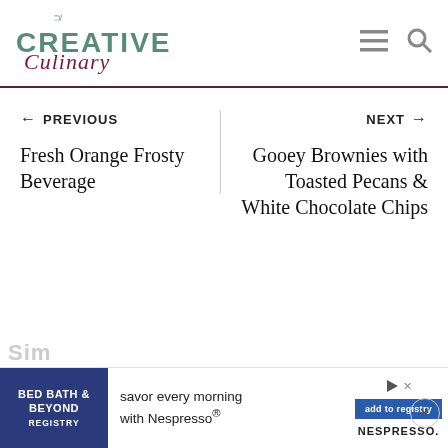[Figure (logo): Creative Culinary website logo with teal bold CREATIVE text, cursive dark red Culinary text, and a small hook icon above]
← PREVIOUS
Fresh Orange Frosty Beverage
NEXT →
Gooey Brownies with Toasted Pecans & White Chocolate Chips
[Figure (infographic): Bed Bath & Beyond Registry advertisement banner with Nespresso promotion: savor every morning with Nespresso, add to registry button]
Sim